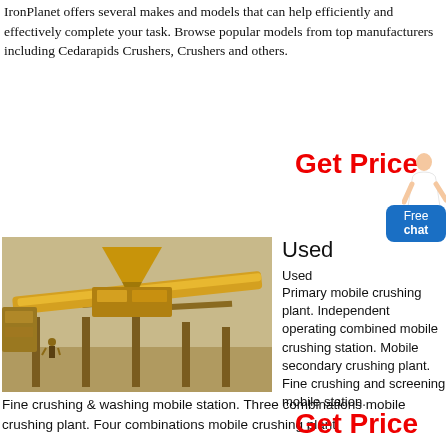IronPlanet offers several makes and models that can help efficiently and effectively complete your task. Browse popular models from top manufacturers including Cedarapids Crushers, Crushers and others.
Get Price
[Figure (photo): Yellow industrial mobile crushing plant machine on a construction/mining site]
Used
Used
Primary mobile crushing plant. Independent operating combined mobile crushing station. Mobile secondary crushing plant. Fine crushing and screening mobile station.
Fine crushing & washing mobile station. Three combinations mobile crushing plant. Four combinations mobile crushing plant
Get Price